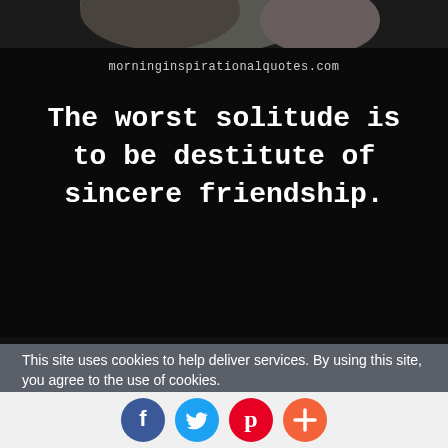[Figure (photo): Partial photo of a person at top of page, dark tones]
morninginspirationalquotes.com
The worst solitude is to be destitute of sincere friendship.
This site uses cookies to help deliver services. By using this site, you agree to the use of cookies.
LEARN MORE   OK
[Figure (illustration): Social sharing icons: Facebook, Twitter, Pinterest, Plus]